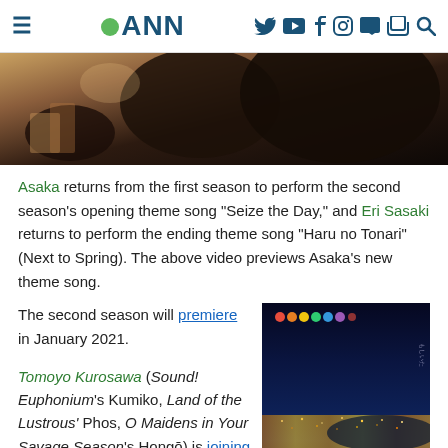ANN (Anime News Network) navigation header
[Figure (photo): Anime still frame showing a character in dark clothing against a warm-toned outdoor background]
Asaka returns from the first season to perform the second season's opening theme song "Seize the Day," and Eri Sasaki returns to perform the ending theme song "Haru no Tonari" (Next to Spring). The above video previews Asaka's new theme song.
The second season will premiere in January 2021.
Tomoyo Kurosawa (Sound! Euphonium's Kumiko, Land of the Lustrous' Phos, O Maidens in Your Savage Season's Hongō) is joining the second season as the character
[Figure (photo): Night aerial view of a coastal city with lights, two figures in foreground]